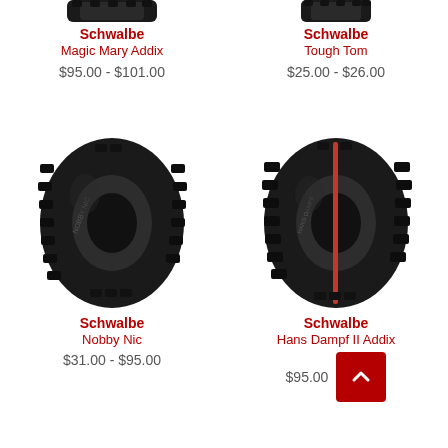Schwalbe
Magic Mary Addix
$95.00 - $101.00
Schwalbe
Tough Tom
$25.00 - $26.00
[Figure (photo): Schwalbe Nobby Nic mountain bike tire, black, viewed at angle showing tread pattern]
Schwalbe
Nobby Nic
$31.00 - $95.00
[Figure (photo): Schwalbe Hans Dampf II Addix mountain bike tire, black with red stripe, viewed at angle showing tread pattern]
Schwalbe
Hans Dampf II Addix
$95.00